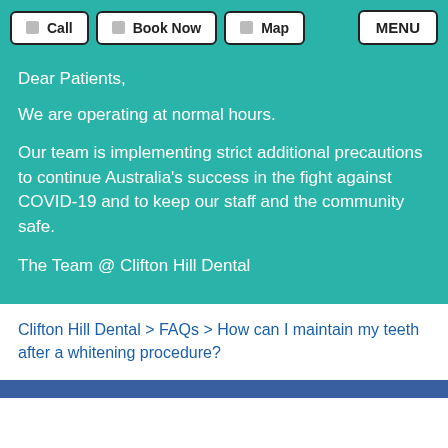Call  Book Now  Map  MENU
Dear Patients,
We are operating at normal hours.
Our team is implementing strict additional precautions to continue Australia's success in the fight against COVID-19 and to keep our staff and the community safe.
The Team @ Clifton Hill Dental
Clifton Hill Dental > FAQs > How can I maintain my teeth after a whitening procedure?